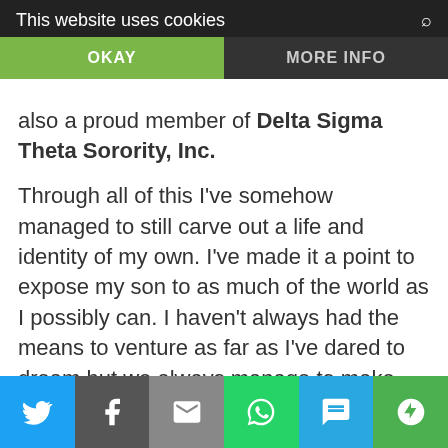This website uses cookies | OKAY | MORE INFO
also a proud member of Delta Sigma Theta Sorority, Inc.
Through all of this I've somehow managed to still carve out a life and identity of my own. I've made it a point to expose my son to as much of the world as I possibly can. I haven't always had the means to venture as far as I've dared to dream but we always manage to make our own adventure. Now that he's older and I'm more seasoned in my professional career, I'm afforded the
Social share bar: Twitter, Facebook, Email, WhatsApp, SMS, More